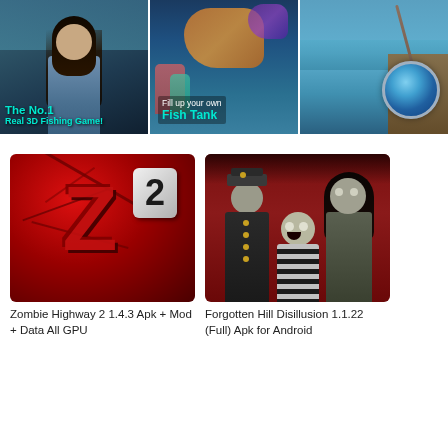[Figure (screenshot): Banner showing a fishing game with three panels: left panel with a woman and text 'The No.1 Real 3D Fishing Game!', center panel with fish tank and text 'Fill up your own Fish Tank', right panel with fishing rod and reel near water]
[Figure (screenshot): Zombie Highway 2 game icon - red background with stylized '2' logo and cracks]
Zombie Highway 2 1.4.3 Apk + Mod + Data All GPU
[Figure (screenshot): Forgotten Hill Disillusion game artwork showing three creepy characters - a man in uniform, a zombie woman, and a child in striped shirt on red background]
Forgotten Hill Disillusion 1.1.22 (Full) Apk for Android